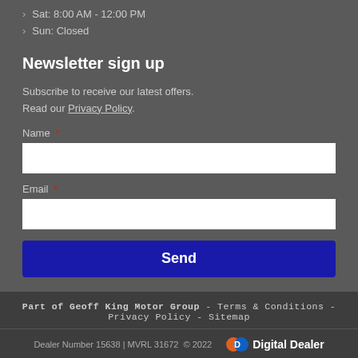Sat: 8:00 AM - 12:00 PM
Sun: Closed
Newsletter sign up
Subscribe to receive our latest offers.
Read our Privacy Policy.
Name *
Email *
Part of Geoff King Motor Group - Terms & Conditions - Privacy Policy - Sitemap
Dealer Number 15638 | MVRL 31672  © 2022  Digital Dealer